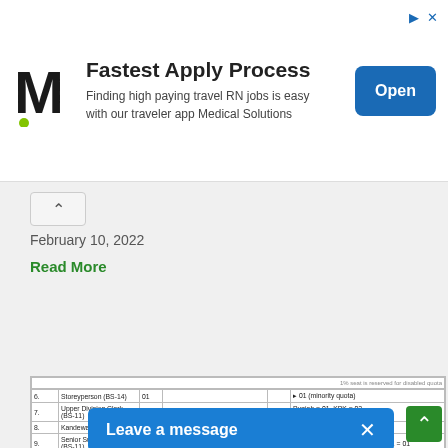[Figure (other): Advertisement banner for Medical Solutions travel RN jobs with logo, text 'Fastest Apply Process', and Open button]
February 10, 2022
Read More
| # | Post (BS) | No. | Qualification | Age | Remarks |
| --- | --- | --- | --- | --- | --- |
| 6. | Storeyperson (BS-14) | 01 |  |  | 1% seat is reserved for disabled quota |
| 7. | Upper Division Clerk (BS-11) | 04 |  |  | Punjab = 01, KPK = 02, Sindh (R) = 01 |
| 8. | Kandewar (BS-11) | 01 | Intermediate with Patwari course | 30 | Punjab = 01 |
| 9. | Senior Surveyor (BS-11) | 02 | Intermediate with Diploma | 30 | Punjab = 01, Sindh (R) = 01, KPK = 01 |
| 10. | Lower Division Clerk (BS-09) | 04 | Matric second class with typing speed of 30 wpm | 30 | Merit = 01, KPK = 02, Sindh (R) = 01, Baluchistan = 01 |
| 11. | Patwari (BS-09) | 07 | Matriculation with Patwari Course | 30 | Merit = 01, Punjab = 02, Sindh (R) = 01, KPK = 02 |
| 12. | Security Guard Supervisor (BS-07) | 02 | Matric second class | 30 | Merit = 01, Baluchistan = 01 |
| 13. | Driver (BS-05) | 02 | Middle pass should possess a valid driving licence. Motorcycle/scooter and LTV licence. | 30 | Local basis (ICT) (91 seat is reserved for minority quota) |
| 14. | Duplicating Machine Operator (BS-) | 01 | Matric pass. Three years experience in the relevant field. | 30 | Local basis (ICT) reserved for disabled person quota |
| 15. | Naib Qasid (BS-01) | 30 | Middle pass | 30 | Local basis (ICT) = 08 (01 seat reserved for female quota, 01 seat is reserved for minority quota and 01 seat disabled person quota), Punjab = 03, Sindh (R) = 01, KPK = 01 |
| 16. | Security Guard (BS-01) | 42 | Preferably Literate. Candidates having experience in the relevant field will be preferred. | 30 | Local basis (ICT) = 21 (01 seat for female quota), Punjab = 11, Sindh (R) = 00, Sindh (U) = 01, KPK = 05, Baluchistan = 04 |